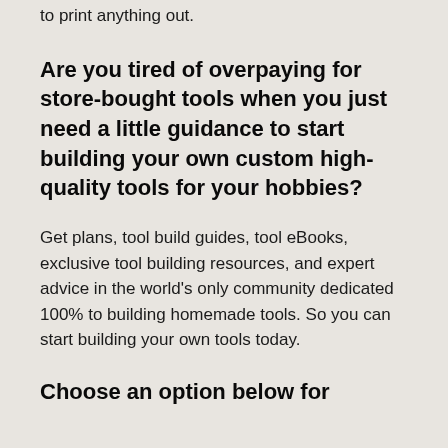to print anything out.
Are you tired of overpaying for store-bought tools when you just need a little guidance to start building your own custom high-quality tools for your hobbies?
Get plans, tool build guides, tool eBooks, exclusive tool building resources, and expert advice in the world's only community dedicated 100% to building homemade tools. So you can start building your own tools today.
Choose an option below for